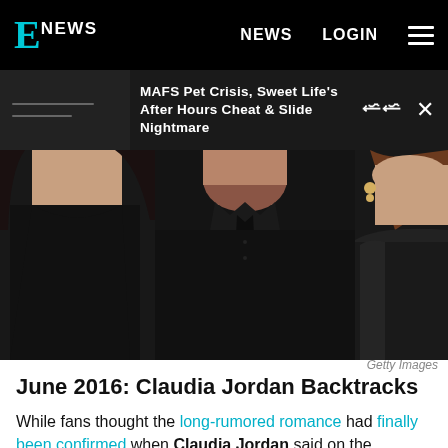E! NEWS  |  NEWS  LOGIN
MAFS Pet Crisis, Sweet Life's After Hours Cheat & Slide Nightmare
[Figure (photo): Three people cropped at neck/chest level wearing black clothing, two on left side and one on right side of frame, appearing to be at a formal event]
Getty Images
June 2016: Claudia Jordan Backtracks
While fans thought the long-rumored romance had finally been confirmed when Claudia Jordan said on the Allegedly podcast he "seems very happy" with